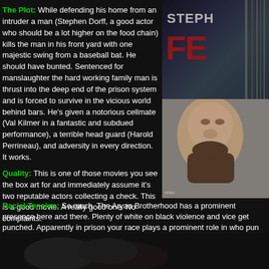The Plot: While defending his home from an intruder a man (Stephen Dorff, a good actor who should be a lot higher on the food chain) kills the man in his front yard with one majestic swing from a baseball bat. He should have bunted. Sentenced for manslaughter the hard working family man is thrust into the deep end of the prison system and is forced to survive in the vicious world behind bars. He's given a notorious cellmate (Val Kilmer in a fantastic and subdued performance), a terrible head guard (Harold Perrineau), and adversity in every direction. It works.
[Figure (photo): Movie poster for a prison film featuring Stephen Dorff. Top half shows title text in large red letters, bottom half shows a bearded man's face.]
Quality: This is one of those movies you see the box art for and immediately assume it's two reputable actors collecting a check. This is a good movie. A really good one. No complaints.
Racial Tension: So much. The Aryan Brotherhood has a prominent presence here and there. Plenty of white on black violence and vice get punched. Apparently in prison your race plays a prominent role in who pun
So it's like America.
[Figure (photo): Dark partial image at bottom of page, appears to be a scene from the movie.]